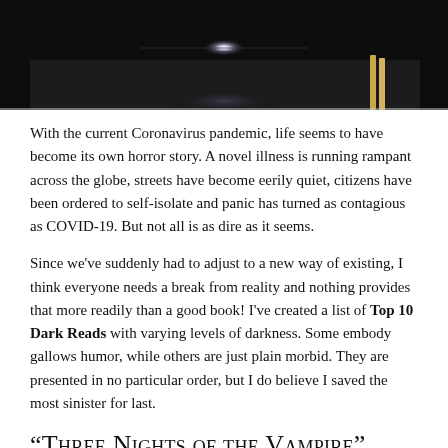[Figure (photo): Dark photograph showing a bright light source (possibly LED or electronic device) on a surface against a dark background]
With the current Coronavirus pandemic, life seems to have become its own horror story. A novel illness is running rampant across the globe, streets have become eerily quiet, citizens have been ordered to self-isolate and panic has turned as contagious as COVID-19. But not all is as dire as it seems.
Since we've suddenly had to adjust to a new way of existing, I think everyone needs a break from reality and nothing provides that more readily than a good book! I've created a list of Top 10 Dark Reads with varying levels of darkness. Some embody gallows humor, while others are just plain morbid. They are presented in no particular order, but I do believe I saved the most sinister for last.
“Three Nights of the Vampire”